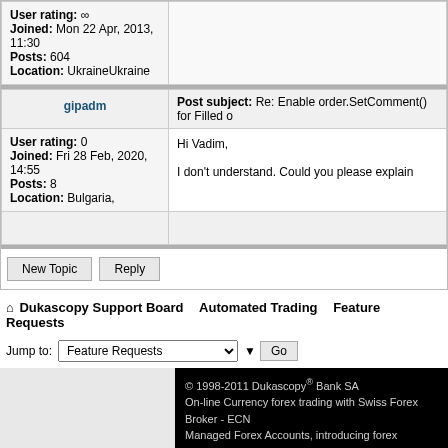| User | Post |
| --- | --- |
| User rating: ∞
Joined: Mon 22 Apr, 2013, 11:30
Posts: 604
Location: UkraineUkraine |  |
| gipadm | Post subject: Re: Enable order.SetComment() for Filled o |
| User rating: 0
Joined: Fri 28 Feb, 2020, 14:55
Posts: 8
Location: Bulgaria, | Hi Vadim,

I don't understand. Could you please explain |
New Topic   Reply
Dukascopy Support Board   Automated Trading   Feature Requests
Jump to: Feature Requests   Go
© 1998-2011 Dukascopy® Bank SA
On-line Currency forex trading with Swiss Forex Broker - ECN
Managed Forex Accounts, introducing forex brokers, Currency
Currency Forex Trading Platform provided on-line by Dukasco